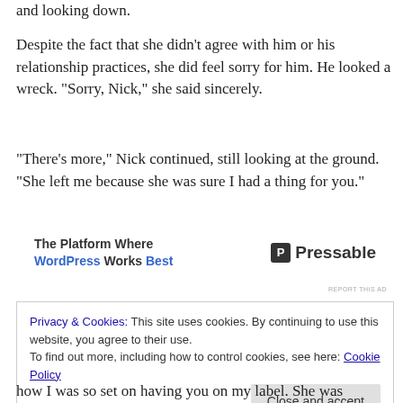and looking down.
Despite the fact that she didn’t agree with him or his relationship practices, she did feel sorry for him. He looked a wreck. “Sorry, Nick,” she said sincerely.
“There’s more,” Nick continued, still looking at the ground. “She left me because she was sure I had a thing for you.”
[Figure (infographic): Advertisement banner: The Platform Where WordPress Works Best — Pressable]
REPORT THIS AD
Privacy & Cookies: This site uses cookies. By continuing to use this website, you agree to their use.
To find out more, including how to control cookies, see here: Cookie Policy
Close and accept
how I was so set on having you on my label. She was